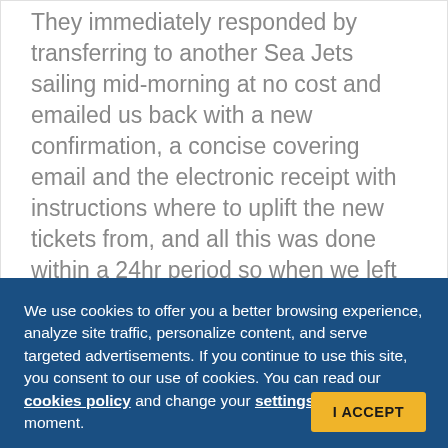They immediately responded by transferring to another Sea Jets sailing mid-morning at no cost and emailed us back with a new confirmation, a concise covering email and the electronic receipt with instructions where to uplift the new tickets from, and all this was done within a 24hr period so when we left NZ, we had peace of mind that there were no ugly suprises on arrival. Very Very impressed with the customer service of Ferriesingreece.com, and the speed and ownership they displayed with our last minute cancellation, and working within our tight
We use cookies to offer you a better browsing experience, analyze site traffic, personalize content, and serve targeted advertisements. If you continue to use this site, you consent to our use of cookies. You can read our cookies policy and change your settings at any moment.